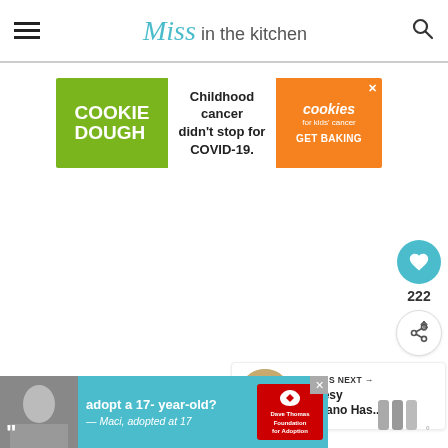Miss in the kitchen
[Figure (infographic): Cookie Dough advertisement banner: green section with 'COOKIE DOUGH' text, white section with 'Childhood cancer didn't stop for COVID-19.', orange section with 'cookies for kids cancer GET BAKING' and close button]
[Figure (infographic): Teal circular like/save button with heart icon, count of 222, and share button below]
[Figure (infographic): What's Next widget showing circular thumbnail of Cheesy Poblano dish with text 'WHAT'S NEXT → Cheesy Poblano Has...']
[Figure (infographic): Adoption advertisement banner in teal: photo of young woman with quote marks, text 'adopt a 17-year-old? — Maci, adopted at 17', Dave Thomas Foundation for Adoption logo, close button]